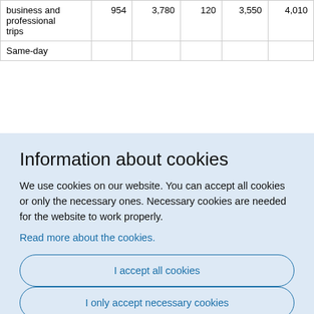|  |  |  |  |  |  |
| --- | --- | --- | --- | --- | --- |
| business and professional trips | 954 | 3,780 | 120 | 3,550 | 4,010 |
| Same-day |  |  |  |  |  |
Information about cookies
We use cookies on our website. You can accept all cookies or only the necessary ones. Necessary cookies are needed for the website to work properly.
Read more about the cookies.
I accept all cookies
I only accept necessary cookies